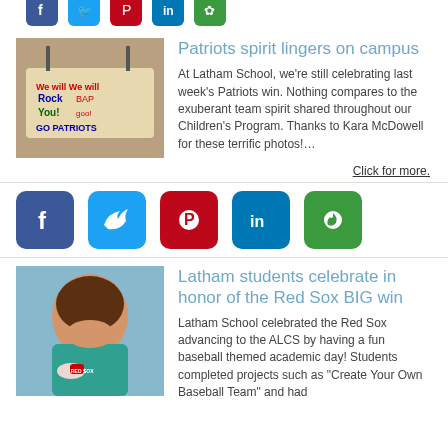[Figure (screenshot): Cropped top social media share bar showing Facebook, Twitter, Pinterest, LinkedIn, and other icons]
[Figure (photo): Photo of Patriots spirit sign reading 'We will We will Rock You! GO PATRIOTS']
Patriots spirit lingers on campus
At Latham School, we're still celebrating last week's Patriots win. Nothing compares to the exuberant team spirit shared throughout our Children's Program. Thanks to Kara McDowell for these terrific photos!…
Click for more.
[Figure (screenshot): Social media share icons: Facebook, Twitter, Pinterest, LinkedIn, and green share button]
[Figure (photo): Photo of a smiling boy in a teal shirt holding a red sign, celebrating Red Sox win]
Latham students celebrate in honor of the Red Sox BIG win
Latham School celebrated the Red Sox advancing to the ALCS by having a fun baseball themed academic day! Students completed projects such as "Create Your Own Baseball Team" and had